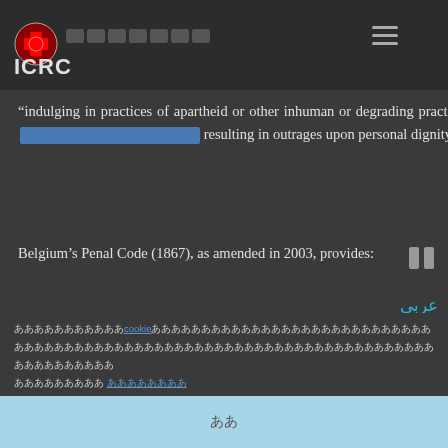ICRC
“indulging in practices of apartheid or other inhuman or degrading practices based on racial discrimination and resulting in outrages upon personal dignity”.
Belgium’s Penal Code (1867), as amended in 2003, provides:
A crime against humanity, as defined below, whether committed in time of peace or in time of war, constitutes a crime under international law and shall be punished in accordance with the provisions of the present title. In
cookie
ààààààààààààààà àààààààà